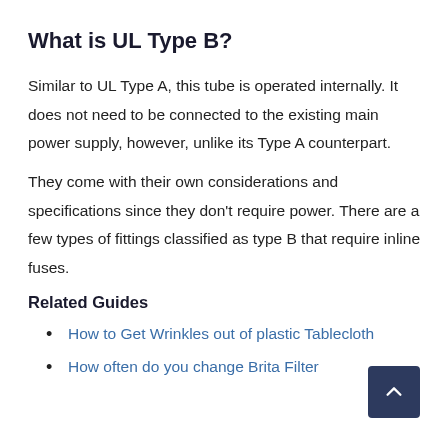What is UL Type B?
Similar to UL Type A, this tube is operated internally. It does not need to be connected to the existing main power supply, however, unlike its Type A counterpart.
They come with their own considerations and specifications since they don't require power. There are a few types of fittings classified as type B that require inline fuses.
Related Guides
How to Get Wrinkles out of plastic Tablecloth
How often do you change Brita Filter